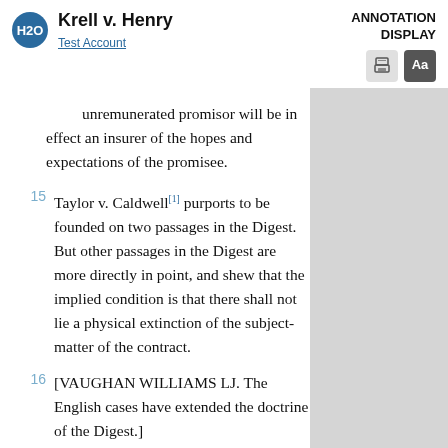Krell v. Henry | Test Account | ANNOTATION DISPLAY
unremunerated promisor will be in effect an insurer of the hopes and expectations of the promisee.
15 Taylor v. Caldwell[1] purports to be founded on two passages in the Digest. But other passages in the Digest are more directly in point, and shew that the implied condition is that there shall not lie a physical extinction of the subject-matter of the contract.
16 [VAUGHAN WILLIAMS LJ. The English cases have extended the doctrine of the Digest.]